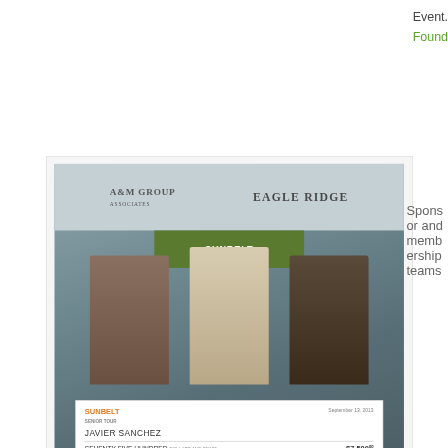Event.  The event raised $18,000 for the NJ Golf Foundation and First Tee of Monmouth & Ocean County.
[Figure (photo): Three men standing together holding a large ceremonial check made out to Javier Sanchez for Seventy Five Hundred / $7,500. The check is from the Sunbelt Senior Tour dated September 13, 2013, signed by Don Barnes. Behind them are banners including Eagle Ridge. The setting appears to be a golf club.]
Mike Attara, winner Javier Sanchez, and Eagle Ridge Golf Head Pro Kevin Beirne at the check presentation.
Sponsor and membership teams